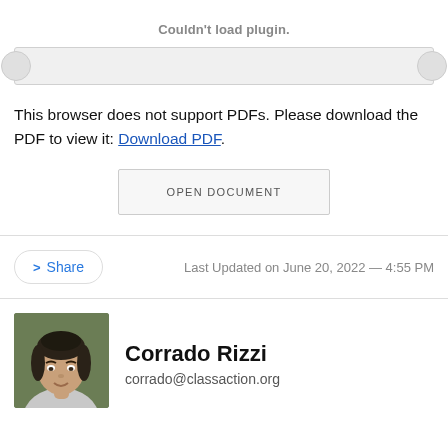Couldn't load plugin.
[Figure (screenshot): PDF viewer area with gray background and navigation arrows]
This browser does not support PDFs. Please download the PDF to view it: Download PDF.
OPEN DOCUMENT
> Share
Last Updated on June 20, 2022 — 4:55 PM
[Figure (photo): Headshot photo of Corrado Rizzi, a man with dark hair]
Corrado Rizzi
corrado@classaction.org